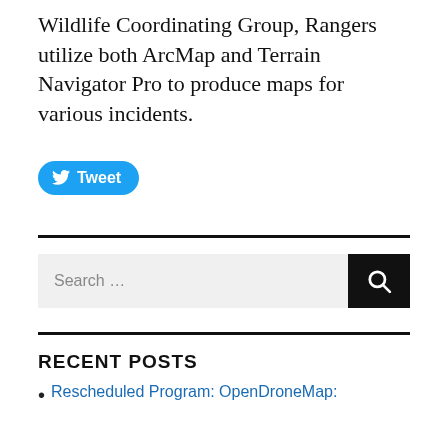Wildlife Coordinating Group, Rangers utilize both ArcMap and Terrain Navigator Pro to produce maps for various incidents.
[Figure (other): Twitter Tweet button]
Search ...
RECENT POSTS
Rescheduled Program: OpenDroneMap: